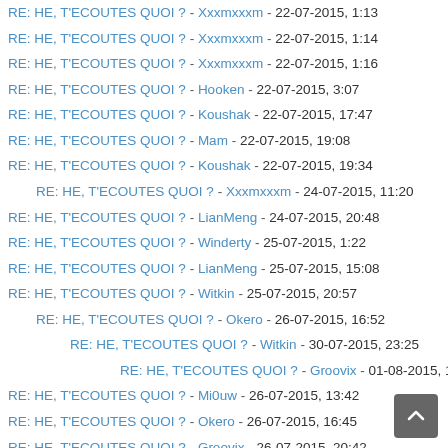RE: HE, T'ECOUTES QUOI ? - Xxxmxxxm - 22-07-2015, 1:13
RE: HE, T'ECOUTES QUOI ? - Xxxmxxxm - 22-07-2015, 1:14
RE: HE, T'ECOUTES QUOI ? - Xxxmxxxm - 22-07-2015, 1:16
RE: HE, T'ECOUTES QUOI ? - Hooken - 22-07-2015, 3:07
RE: HE, T'ECOUTES QUOI ? - Koushak - 22-07-2015, 17:47
RE: HE, T'ECOUTES QUOI ? - Mam - 22-07-2015, 19:08
RE: HE, T'ECOUTES QUOI ? - Koushak - 22-07-2015, 19:34
RE: HE, T'ECOUTES QUOI ? - Xxxmxxxm - 24-07-2015, 11:20 (indent1)
RE: HE, T'ECOUTES QUOI ? - LianMeng - 24-07-2015, 20:48
RE: HE, T'ECOUTES QUOI ? - Winderty - 25-07-2015, 1:22
RE: HE, T'ECOUTES QUOI ? - LianMeng - 25-07-2015, 15:08
RE: HE, T'ECOUTES QUOI ? - Witkin - 25-07-2015, 20:57
RE: HE, T'ECOUTES QUOI ? - Okero - 26-07-2015, 16:52 (indent1)
RE: HE, T'ECOUTES QUOI ? - Witkin - 30-07-2015, 23:25 (indent2)
RE: HE, T'ECOUTES QUOI ? - Groovix - 01-08-2015, 14:22 (indent3)
RE: HE, T'ECOUTES QUOI ? - Mi0uw - 26-07-2015, 13:42
RE: HE, T'ECOUTES QUOI ? - Okero - 26-07-2015, 16:45
RE: HE, T'ECOUTES QUOI ? - Groovix - 26-07-2015, 20:42
RE: HE, T'ECOUTES QUOI ? - Luffy - 26-07-2015, 22:49
RE: HE, T'ECOUTES QUOI ? - Groovix - 27-07-2015, 1:40
RE: HE, T'ECOUTES QUOI ? - Xxxmxxxm - 27-07-2015, 15:13
RE: HE, T'ECOUTES QUOI ? - LianMeng - 27-07-2015, 19:06
RE: HE, T'ECOUTES QUOI ? - Winderty - 28-07-2015, 1:58